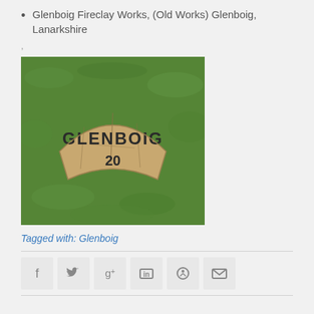Glenboig Fireclay Works, (Old Works) Glenboig, Lanarkshire
,
[Figure (photo): A curved fireclay brick fragment with the impressed text 'GLENBOIG 20' lying on green grass]
Tagged with: Glenboig